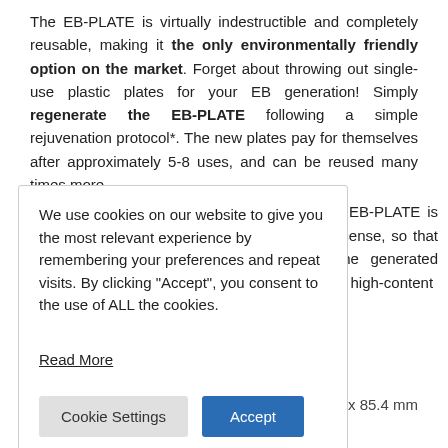The EB-PLATE is virtually indestructible and completely reusable, making it the only environmentally friendly option on the market. Forget about throwing out single-use plastic plates for your EB generation! Simply regenerate the EB-PLATE following a simple rejuvenation protocol*. The new plates pay for themselves after approximately 5-8 uses, and can be reused many times more.
We use cookies on our website to give you the most relevant experience by remembering your preferences and repeat visits. By clicking "Accept", you consent to the use of ALL the cookies.

Read More
: EB-PLATE is icense, so that the generated d high-content
7 x 85.4 mm
Chamber material: (PDMS) biologically inert